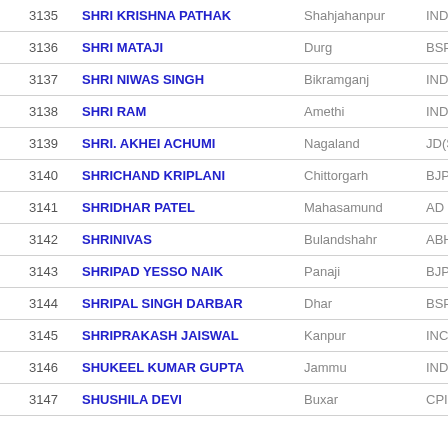| # | Name | Constituency | Party |
| --- | --- | --- | --- |
| 3135 | SHRI KRISHNA PATHAK | Shahjahanpur | IND |
| 3136 | SHRI MATAJI | Durg | BSP |
| 3137 | SHRI NIWAS SINGH | Bikramganj | IND |
| 3138 | SHRI RAM | Amethi | IND |
| 3139 | SHRI. AKHEI ACHUMI | Nagaland | JD(S) |
| 3140 | SHRICHAND KRIPLANI | Chittorgarh | BJP |
| 3141 | SHRIDHAR PATEL | Mahasamund | AD |
| 3142 | SHRINIVAS | Bulandshahr | ABHM |
| 3143 | SHRIPAD YESSO NAIK | Panaji | BJP |
| 3144 | SHRIPAL SINGH DARBAR | Dhar | BSP |
| 3145 | SHRIPRAKASH JAISWAL | Kanpur | INC |
| 3146 | SHUKEEL KUMAR GUPTA | Jammu | IND |
| 3147 | SHUSHILA DEVI | Buxar | CPI(ML)(L) |